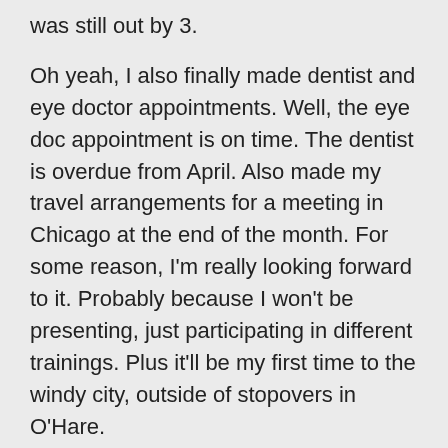was still out by 3.
Oh yeah, I also finally made dentist and eye doctor appointments. Well, the eye doc appointment is on time. The dentist is overdue from April. Also made my travel arrangements for a meeting in Chicago at the end of the month. For some reason, I’m really looking forward to it. Probably because I won’t be presenting, just participating in different trainings. Plus it’ll be my first time to the windy city, outside of stopovers in O’Hare.
Today’s reserved for writing and running. I’m looking forward to my jog in Central Park, and the weather seems perfect for it right now. Tomorrow there will be thunderstorms and I would prefer not to be hit by lightning. Ouch.